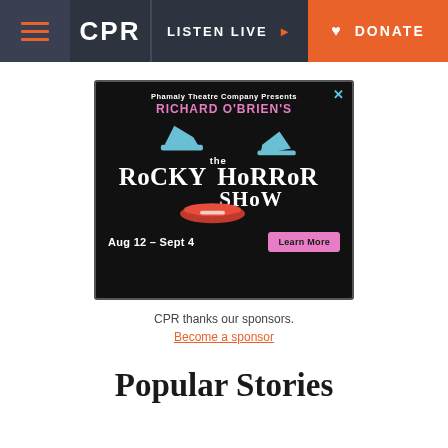CPR | LISTEN LIVE | DONATE
[Figure (illustration): Advertisement for Phamaly Theatre Company presents Richard O'Brien's The Rocky Horror Show, Aug 12 - Sept 4, with Learn More button]
CPR thanks our sponsors.
Become a sponsor
Popular Stories